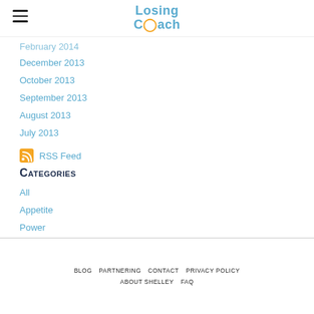Losing Coach
February 2014 (partial, truncated)
December 2013
October 2013
September 2013
August 2013
July 2013
RSS Feed
Categories
All
Appetite
Power
Weight Loss
BLOG   PARTNERING   CONTACT   PRIVACY POLICY   ABOUT SHELLEY   FAQ